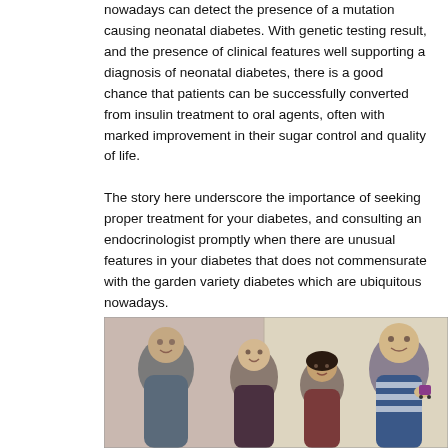nowadays can detect the presence of a mutation causing neonatal diabetes. With genetic testing result, and the presence of clinical features well supporting a diagnosis of neonatal diabetes, there is a good chance that patients can be successfully converted from insulin treatment to oral agents, often with marked improvement in their sugar control and quality of life.
The story here underscore the importance of seeking proper treatment for your diabetes, and consulting an endocrinologist promptly when there are unusual features in your diabetes that does not commensurate with the garden variety diabetes which are ubiquitous nowadays.
[Figure (photo): A family photo showing four people — an adult man on the left, a teenage boy in the center-left, a woman in the center-right background, and a younger boy on the right holding a small toy — smiling together indoors.]